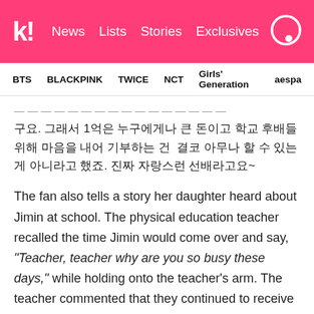k! News Lists Stories Exclusives
BTS BLACKPINK TWICE NCT Girls' Generation aespa
구요. 그래서 1억은 누구에게나 큰 돈이고 학교 후배들 위해 마음을 내어 기부하는 건 결코 아무나 할 수 있는 게 아니라고 했죠. 진짜 자랑스런 선배라고요~
The fan also tells a story her daughter heard about Jimin at school. The physical education teacher recalled the time Jimin would come over and say, "Teacher, teacher why are you so busy these days," while holding onto the teacher's arm. The teacher commented that they continued to receive contact from Jimin for many years after and that he would be a student they will always remember.